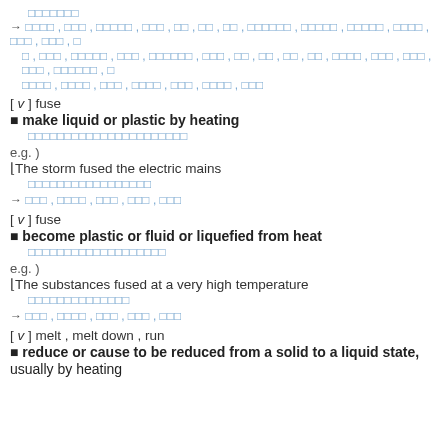[Korean text] (header/cross-reference arrow with Korean terms)
[ v ] fuse
■ make liquid or plastic by heating
[Korean translation]
e.g. )
⌊The storm fused the electric mains
[Korean translation]
→ [Korean synonyms]
[ v ] fuse
■ become plastic or fluid or liquefied from heat
[Korean translation]
e.g. )
⌊The substances fused at a very high temperature
[Korean translation]
→ [Korean synonyms]
[ v ] melt , melt down , run
■ reduce or cause to be reduced from a solid to a liquid state, usually by heating